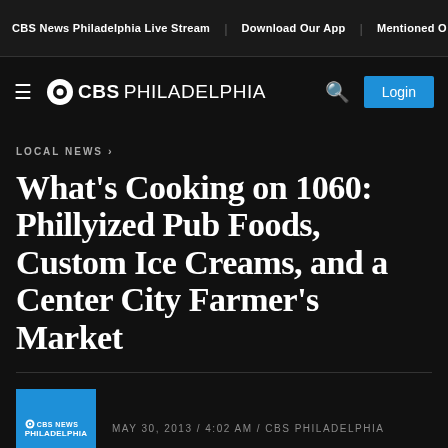CBS News Philadelphia Live Stream | Download Our App | Mentioned O
⊙CBS PHILADELPHIA
LOCAL NEWS ›
What's Cooking on 1060: Philly-ized Pub Foods, Custom Ice Creams, and a Center City Farmer's Market
MAY 30, 2013 / 4:02 AM / CBS PHILADELPHIA